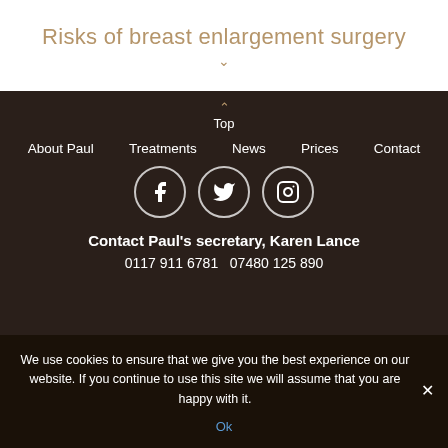Risks of breast enlargement surgery
Top
About Paul  Treatments  News  Prices  Contact
[Figure (infographic): Three social media icons in circles: Facebook, Twitter, Instagram]
Contact Paul's secretary, Karen Lance
0117 911 6781  07480 125 890
We use cookies to ensure that we give you the best experience on our website. If you continue to use this site we will assume that you are happy with it.
Ok